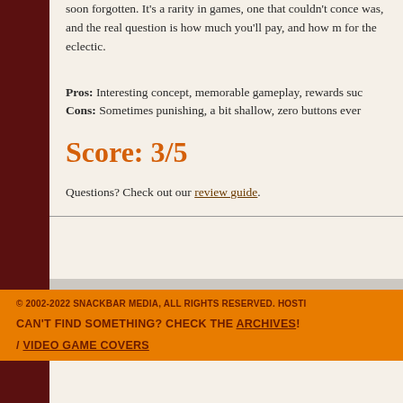soon forgotten. It's a rarity in games, one that couldn't conce was, and the real question is how much you'll pay, and how m for the eclectic.
Pros: Interesting concept, memorable gameplay, rewards suc
Cons: Sometimes punishing, a bit shallow, zero buttons ever
Score: 3/5
Questions? Check out our review guide.
© 2002-2022 SNACKBAR MEDIA, ALL RIGHTS RESERVED. HOSTI CAN'T FIND SOMETHING? CHECK THE ARCHIVES! / VIDEO GAME COVERS